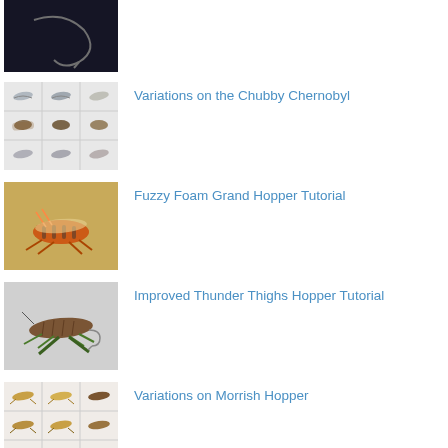[Figure (photo): Close-up photo of a fly fishing hook/fly on dark background, partially visible at top of page]
[Figure (photo): Grid of 9 photos showing variations of the Chubby Chernobyl fly pattern on light background]
Variations on the Chubby Chernobyl
[Figure (photo): Photo of a Fuzzy Foam Grand Hopper fly pattern on yellow/tan background]
Fuzzy Foam Grand Hopper Tutorial
[Figure (photo): Photo of an Improved Thunder Thighs Hopper fly pattern on grey/white background]
Improved Thunder Thighs Hopper Tutorial
[Figure (photo): Grid of 9 photos showing variations of the Morrish Hopper fly pattern]
Variations on Morrish Hopper